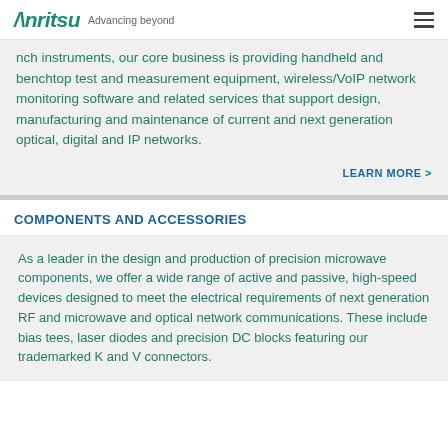Anritsu Advancing beyond
nch instruments, our core business is providing handheld and benchtop test and measurement equipment, wireless/VoIP network monitoring software and related services that support design, manufacturing and maintenance of current and next generation optical, digital and IP networks.
LEARN MORE >
COMPONENTS AND ACCESSORIES
As a leader in the design and production of precision microwave components, we offer a wide range of active and passive, high-speed devices designed to meet the electrical requirements of next generation RF and microwave and optical network communications. These include bias tees, laser diodes and precision DC blocks featuring our trademarked K and V connectors.